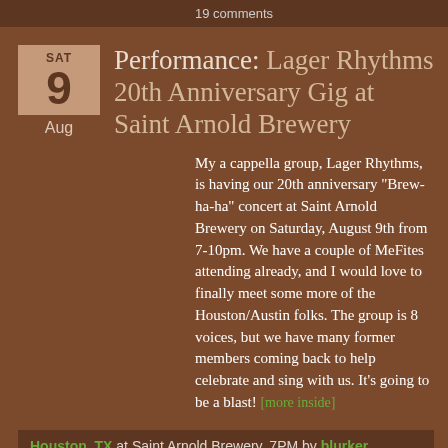19 comments
Performance: Lager Rhythms 20th Anniversary Gig at Saint Arnold Brewery
My a cappella group, Lager Rhythms, is having our 20th anniversary "Brew-ha-ha" concert at Saint Arnold Brewery on Saturday, August 9th from 7-10pm. We have a couple of MeFites attending already, and I would love to finally meet some more of the Houston/Austin folks. The group is 8 voices, but we have many former members coming back to help celebrate and sing with us. It's going to be a blast! [more inside]
Houston, TX at Saint Arnold Brewery, 7PM by blurker
4 comments